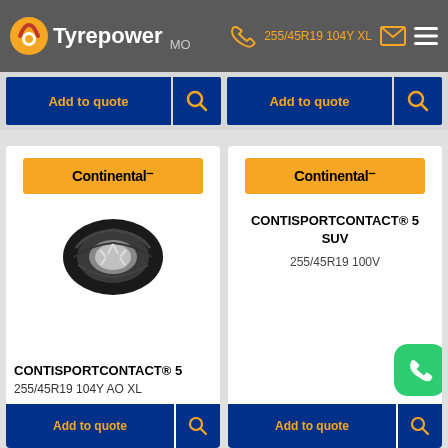Tyrepower MO | 255/45R19 104Y XL
Add to quote
Add to quote
[Figure (logo): Continental brand logo on orange background]
[Figure (photo): Continental tyre side profile photo]
CONTISPORTCONTACT® 5
255/45R19 104Y AO XL
[Figure (logo): Continental brand logo on orange background]
CONTISPORTCONTACT® 5 SUV
255/45R19 100V
Add to quote
Add to quote